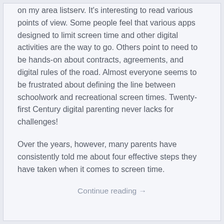on my area listserv.  It's interesting to read various points of view. Some people feel that various apps designed to limit screen time and other digital activities are the way to go.  Others point to need to be hands-on about contracts, agreements, and digital rules of the road.  Almost everyone seems to be frustrated about defining the line between schoolwork and recreational screen times. Twenty-first Century digital parenting never lacks for challenges!
Over the years, however, many parents have consistently told me about four effective steps they have taken when it comes to screen time.
Continue reading →